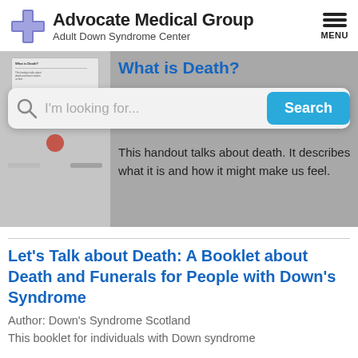Advocate Medical Group Adult Down Syndrome Center
What is Death?
This handout talks about death. It describes what it is and how it might make us feel.
Let's Talk about Death: A Booklet about Death and Funerals for People with Down's Syndrome
Author: Down's Syndrome Scotland
This booklet for individuals with Down syndrome